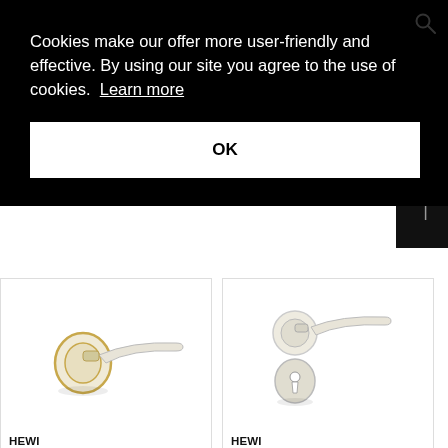Cookies make our offer more user-friendly and effective. By using our site you agree to the use of cookies.  Learn more
OK
[Figure (photo): Door handle lever without escutcheons, Bicolor Matt edition - cream/white handle with gold-toned rose]
HEWI
Standard door fitting without escutcheons | Bicolor Matt
[Figure (photo): Door handle lever with escutcheons, Bicolor Matt edition - cream/white handle and rose with keyhole escutcheon]
HEWI
Standard door fitting | Bicolor Matt edition